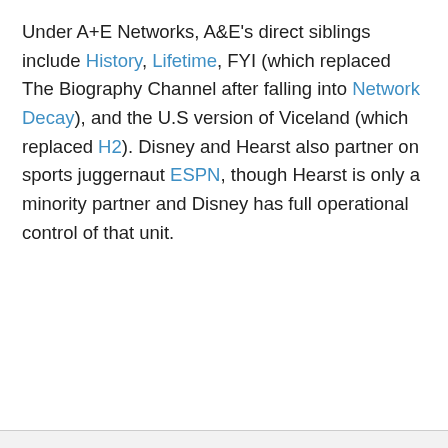Under A+E Networks, A&E's direct siblings include History, Lifetime, FYI (which replaced The Biography Channel after falling into Network Decay), and the U.S version of Viceland (which replaced H2). Disney and Hearst also partner on sports juggernaut ESPN, though Hearst is only a minority partner and Disney has full operational control of that unit.
Advertisement: